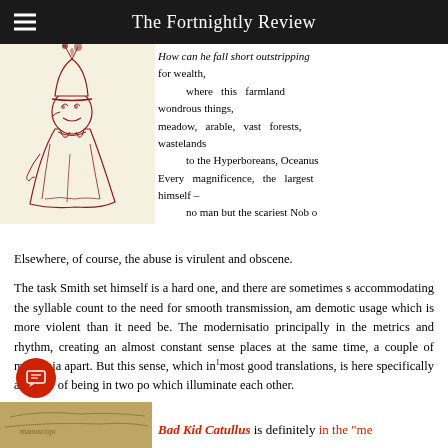The Fortnightly Review
[Figure (illustration): Red ink sketch of a whimsical figure with a tall hat decorated with plants, wearing a cloak, drawn in a caricature style]
How can he fall short outstripping for wealth,
        where this farmland wondrous things,
meadow, arable, vast forests, wastelands
        to the Hyperboreans, Oceanus
Every magnificence, the largest himself –
        no man but the scariest Nob o
Elsewhere, of course, the abuse is virulent and obscene.
The task Smith set himself is a hard one, and there are sometimes s accommodating the syllable count to the need for smooth transmission, am demotic usage which is more violent than it need be. The modernisatio principally in the metrics and rhythm, creating an almost constant sense places at the same time, a couple of millennia apart. But this sense, which in most good translations, is here specifically a matter of being in two po which illuminate each other.
[Figure (illustration): Partial view of an old manuscript or map with yellowish-brown background]
Bad Kid Catullus is definitely in the "me